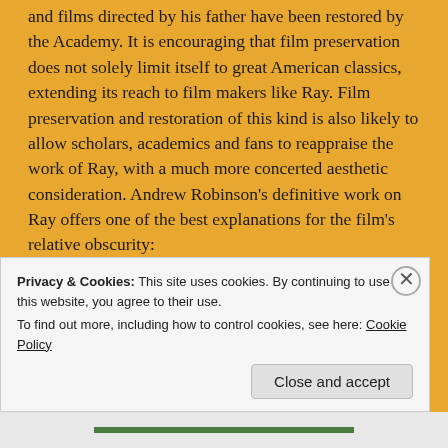and films directed by his father have been restored by the Academy. It is encouraging that film preservation does not solely limit itself to great American classics, extending its reach to film makers like Ray. Film preservation and restoration of this kind is also likely to allow scholars, academics and fans to reappraise the work of Ray, with a much more concerted aesthetic consideration. Andrew Robinson's definitive work on Ray offers one of the best explanations for the film's relative obscurity:
'Kanchenjungha's distribution abroad suffered from its difficulties at home. In the
Privacy & Cookies: This site uses cookies. By continuing to use this website, you agree to their use.
To find out more, including how to control cookies, see here: Cookie Policy